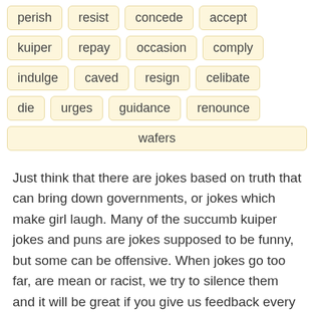perish
resist
concede
accept
kuiper
repay
occasion
comply
indulge
caved
resign
celibate
die
urges
guidance
renounce
wafers
Just think that there are jokes based on truth that can bring down governments, or jokes which make girl laugh. Many of the succumb kuiper jokes and puns are jokes supposed to be funny, but some can be offensive. When jokes go too far, are mean or racist, we try to silence them and it will be great if you give us feedback every time